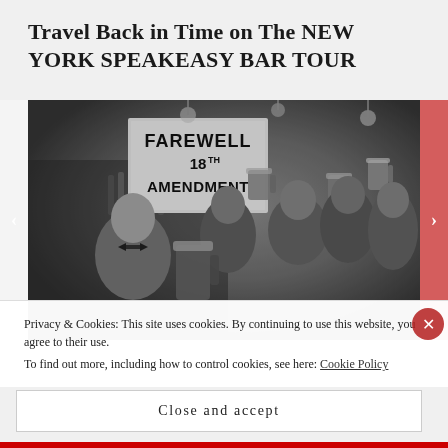Travel Back in Time on The NEW YORK SPEAKEASY BAR TOUR
[Figure (photo): Black and white photograph of a bar scene with patrons raising beer mugs toasting. A sign in the background reads 'FAREWELL 18TH AMENDMENT'. A bartender in a bow tie is visible on the left.]
Privacy & Cookies: This site uses cookies. By continuing to use this website, you agree to their use.
To find out more, including how to control cookies, see here: Cookie Policy
Close and accept